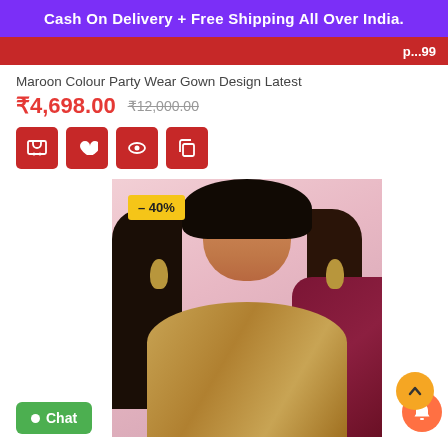Cash On Delivery + Free Shipping All Over India.
Maroon Colour Party Wear Gown Design Latest
₹4,698.00  ₹12,000.00
[Figure (photo): Model wearing a maroon saree with a golden embroidered blouse and traditional jewelry. A yellow badge showing -40% discount is overlaid on the top-left of the image.]
Chat